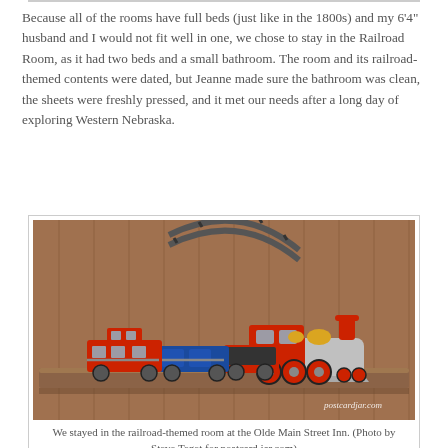Because all of the rooms have full beds (just like in the 1800s) and my 6'4" husband and I would not fit well in one, we chose to stay in the Railroad Room, as it had two beds and a small bathroom. The room and its railroad-themed contents were dated, but Jeanne made sure the bathroom was clean, the sheets were freshly pressed, and it met our needs after a long day of exploring Western Nebraska.
[Figure (photo): A toy model train set displayed on a wooden shelf mounted on a wood-paneled wall. The train includes a red and silver steam locomotive at the front, blue freight cars in the middle, and a red caboose at the back. A curved section of track is mounted on the wall above. The watermark 'postcardjar.com' appears in the lower right corner.]
We stayed in the railroad-themed room at the Olde Main Street Inn. (Photo by Steve Teget for postcard jar.com)